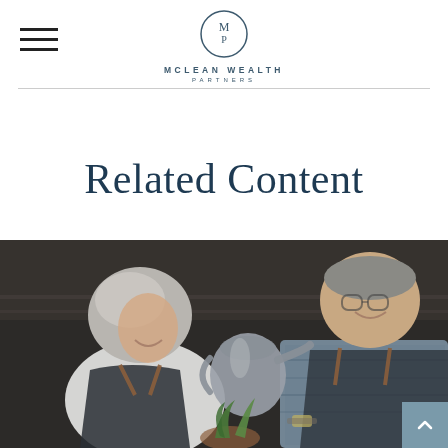McLEAN WEALTH PARTNERS
Related Content
[Figure (photo): An elderly Asian couple smiling and tending to a small plant together indoors, the woman wearing a white shirt and dark apron, the man wearing a plaid shirt and dark apron, holding a metal watering can]